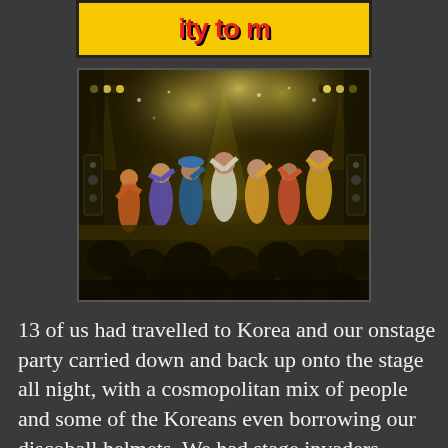[Figure (illustration): Partial yellow banner with red text at the top of the page, partially cut off]
[Figure (photo): Concert stage photo showing performers and audience in a dark venue with yellow/green stage lighting. Multiple colorful performers on stage, audience members visible in foreground.]
13 of us had travelled to Korea and our onstage party carried down and back up onto the stage all night, with a cosmopolitan mix of people and some of the Koreans even borrowing our discoball helmets. We had stage invaders , people of all nationalities high 5ing